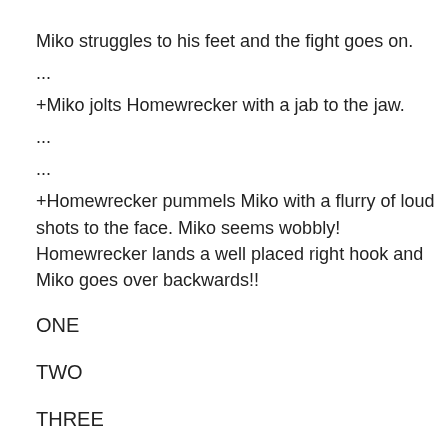Miko struggles to his feet and the fight goes on.
...
+Miko jolts Homewrecker with a jab to the jaw.
...
...
+Homewrecker pummels Miko with a flurry of loud shots to the face. Miko seems wobbly!
Homewrecker lands a well placed right hook and Miko goes over backwards!!
ONE
TWO
THREE
FOUR
FIVE